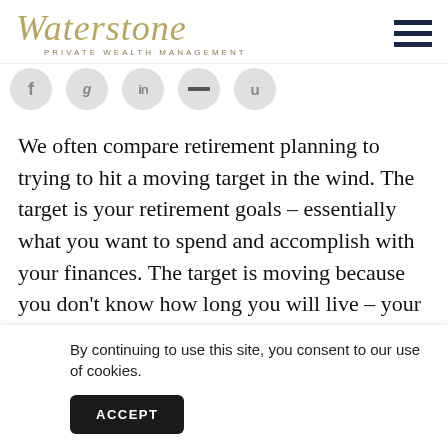Waterstone Private Wealth Management
[Figure (other): Social media icon circles (Facebook, Twitter/X, LinkedIn, minus/dash, and another icon) in gray circles]
We often compare retirement planning to trying to hit a moving target in the wind. The target is your retirement goals – essentially what you want to spend and accomplish with your finances. The target is moving because you don't know how long you will live – your retirement could last 5 years or 40. Then there is wind b
By continuing to use this site, you consent to our use of cookies.
ACCEPT